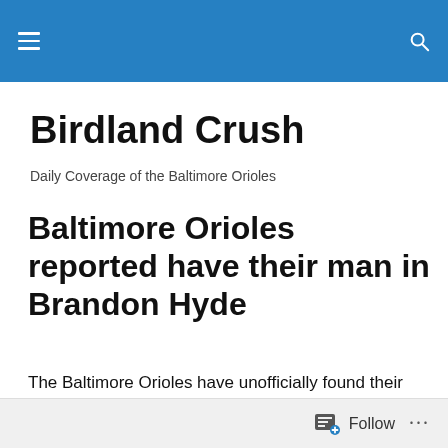Birdland Crush — navigation header bar
Birdland Crush
Daily Coverage of the Baltimore Orioles
Baltimore Orioles reported have their man in Brandon Hyde
The Baltimore Orioles have unofficially found their new manager. Joel Sherman of the NY Post reported last night that GM Mike Elias was going to hire Chicago Cubs' bench
Follow ...